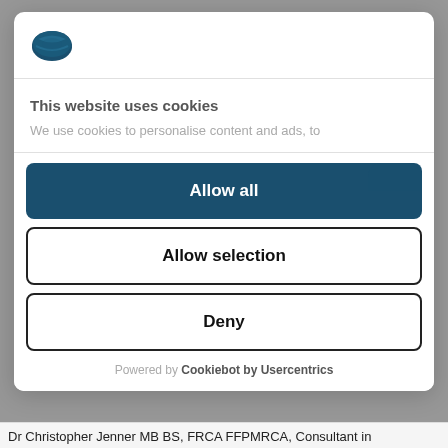[Figure (logo): Cookiebot/Usercentrics logo - blue oval cookie icon]
This website uses cookies
We use cookies to personalise content and ads, to
[Figure (other): Scroll/expand indicator button - dark teal rounded rectangle]
Allow all
Allow selection
Deny
Powered by Cookiebot by Usercentrics
Dr Christopher Jenner MB BS, FRCA FFPMRCA, Consultant in